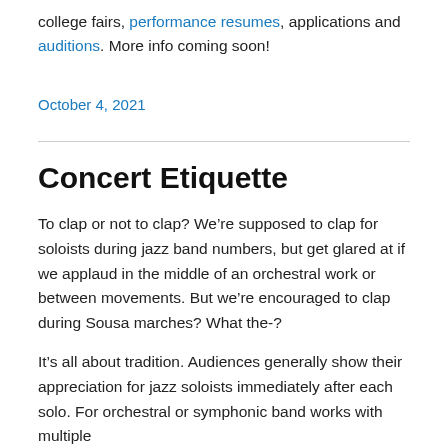college fairs, performance resumes, applications and auditions. More info coming soon!
October 4, 2021
Concert Etiquette
To clap or not to clap? We're supposed to clap for soloists during jazz band numbers, but get glared at if we applaud in the middle of an orchestral work or between movements. But we're encouraged to clap during Sousa marches? What the-?
It's all about tradition. Audiences generally show their appreciation for jazz soloists immediately after each solo. For orchestral or symphonic band works with multiple